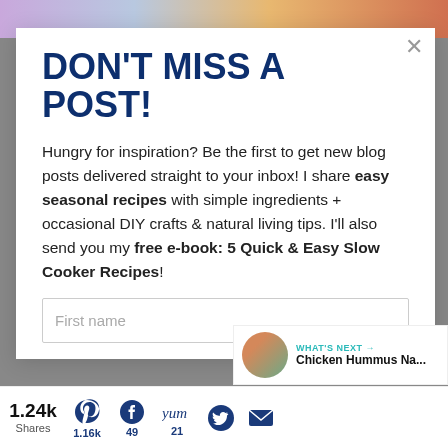[Figure (photo): Top banner photo with purple and orange food/drink colors]
DON'T MISS A POST!
Hungry for inspiration? Be the first to get new blog posts delivered straight to your inbox! I share easy seasonal recipes with simple ingredients + occasional DIY crafts & natural living tips. I'll also send you my free e-book: 5 Quick & Easy Slow Cooker Recipes!
First name
WHAT'S NEXT → Chicken Hummus Na...
1.24k Shares 1.16k 49 21